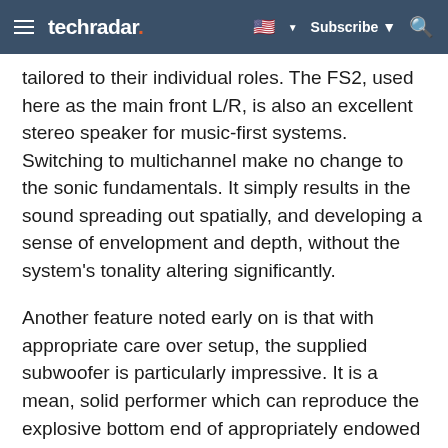techradar | Subscribe | Search
tailored to their individual roles. The FS2, used here as the main front L/R, is also an excellent stereo speaker for music-first systems. Switching to multichannel make no change to the sonic fundamentals. It simply results in the sound spreading out spatially, and developing a sense of envelopment and depth, without the system's tonality altering significantly.
Another feature noted early on is that with appropriate care over setup, the supplied subwoofer is particularly impressive. It is a mean, solid performer which can reproduce the explosive bottom end of appropriately endowed soundtracks. The depth charging scenes from U571 still act as